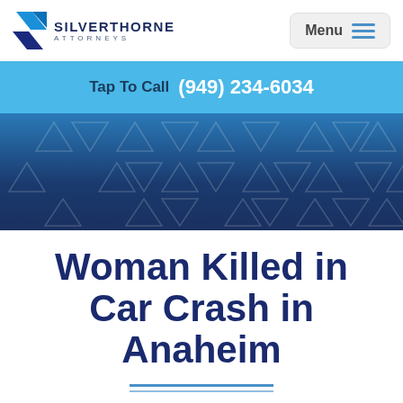Silverthorne Attorneys | Menu
Tap To Call (949) 234-6034
[Figure (illustration): Dark blue background section with repeating triangle and inverted triangle geometric pattern watermark]
Woman Killed in Car Crash in Anaheim